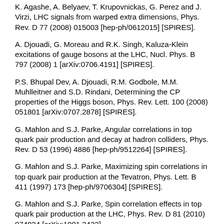K. Agashe, A. Belyaev, T. Krupovnickas, G. Perez and J. Virzi, LHC signals from warped extra dimensions, Phys. Rev. D 77 (2008) 015003 [hep-ph/0612015] [SPIRES].
A. Djouadi, G. Moreau and R.K. Singh, Kaluza-Klein excitations of gauge bosons at the LHC, Nucl. Phys. B 797 (2008) 1 [arXiv:0706.4191] [SPIRES].
P.S. Bhupal Dev, A. Djouadi, R.M. Godbole, M.M. Muhlleitner and S.D. Rindani, Determining the CP properties of the Higgs boson, Phys. Rev. Lett. 100 (2008) 051801 [arXiv:0707.2878] [SPIRES].
G. Mahlon and S.J. Parke, Angular correlations in top quark pair production and decay at hadron colliders, Phys. Rev. D 53 (1996) 4886 [hep-ph/9512264] [SPIRES].
G. Mahlon and S.J. Parke, Maximizing spin correlations in top quark pair production at the Tevatron, Phys. Lett. B 411 (1997) 173 [hep-ph/9706304] [SPIRES].
G. Mahlon and S.J. Parke, Spin correlation effects in top quark pair production at the LHC, Phys. Rev. D 81 (2010) 074024 [arXiv:1001.3422].
T. Stelzer and S. Willenbrock, Spin correlation in top-